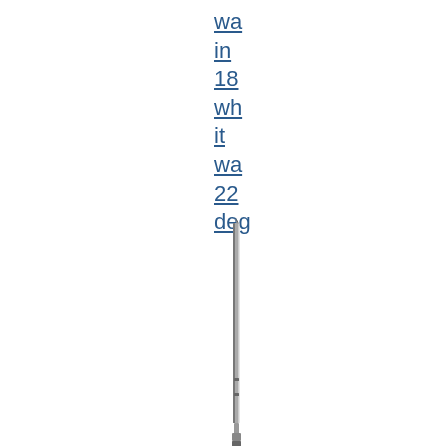wa in 18 wh it wa 22 deg
[Figure (photo): A medical needle or surgical needle shown vertically, with a sharp pointed tip at the top and a narrow elongated body extending downward. The needle appears metallic/silver with a slight curve.]